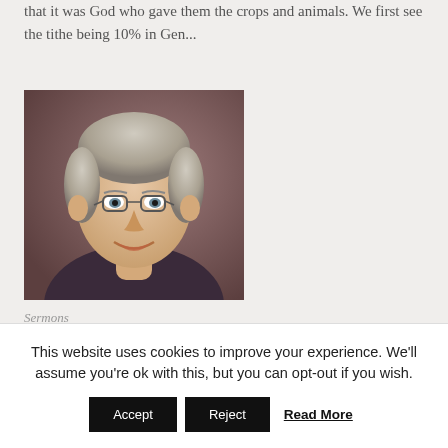that it was God who gave them the crops and animals. We first see the tithe being 10% in Gen...
[Figure (photo): Portrait photo of a middle-aged man with grey-blond hair, glasses, and a warm smile, wearing a dark shirt, against a brown mottled background.]
Sermons
This website uses cookies to improve your experience. We'll assume you're ok with this, but you can opt-out if you wish.